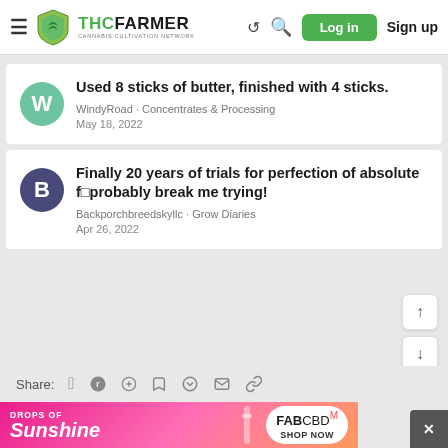THCFarmer - Cannabis Cultivation Network | Log in | Sign up
Used 8 sticks of butter, finished with 4 sticks.
WindyRoad · Concentrates & Processing
May 18, 2022
Finally 20 years of trials for perfection of absolute f□probably break me trying!
Backporchbreedskyllc · Grow Diaries
Apr 26, 2022
Share:
[Figure (screenshot): FAB CBD advertisement banner - DROPS OF Sunshine SHOP NOW]